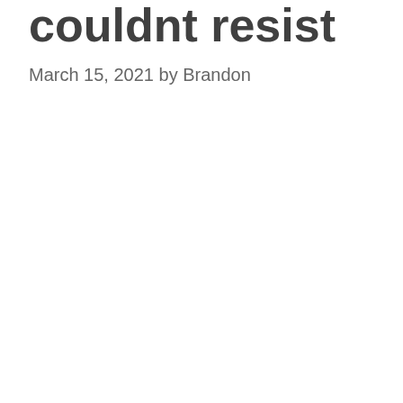couldnt resist
March 15, 2021 by Brandon